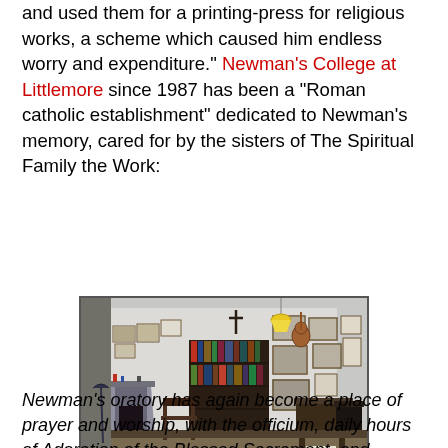and used them for a printing-press for religious works, a scheme which caused him endless worry and expenditure." Newman's College at Littlemore since 1987 has been a "Roman catholic establishment" dedicated to Newman's memory, cared for by the sisters of The Spiritual Family the Work:
[Figure (photo): Interior room of Newman's College at Littlemore showing walls covered with framed pictures and photographs, a bookshelf with books, a fireplace on the left side, wooden chairs, and a cross on the upper wall.]
Newman's oratory has again become a place of prayer and worship, with the officium, daily hours of Adoration of the Blessed Sacrament, and regular masses. A substantial and specialized collection of Newman-related literature has been